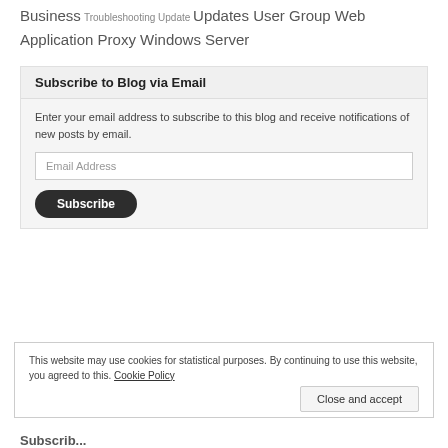Business Troubleshooting Update Updates User Group Web Application Proxy Windows Server
Subscribe to Blog via Email
Enter your email address to subscribe to this blog and receive notifications of new posts by email.
Email Address
Subscribe
This website may use cookies for statistical purposes. By continuing to use this website, you agreed to this. Cookie Policy
Close and accept
Subscribe